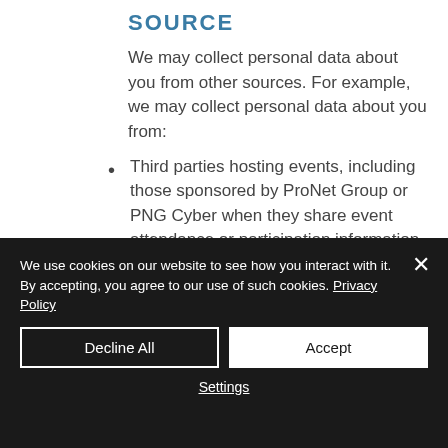SOURCE
We may collect personal data about you from other sources. For example, we may collect personal data about you from:
Third parties hosting events, including those sponsored by ProNet Group or PNG Cyber when they share event attendance or participation information with us;
We use cookies on our website to see how you interact with it. By accepting, you agree to our use of such cookies. Privacy Policy
Decline All
Accept
Settings